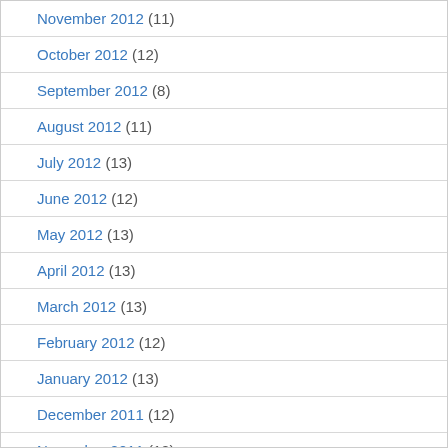November 2012 (11)
October 2012 (12)
September 2012 (8)
August 2012 (11)
July 2012 (13)
June 2012 (12)
May 2012 (13)
April 2012 (13)
March 2012 (13)
February 2012 (12)
January 2012 (13)
December 2011 (12)
November 2011 (12)
October 2011 (13)
September 2011 (14)